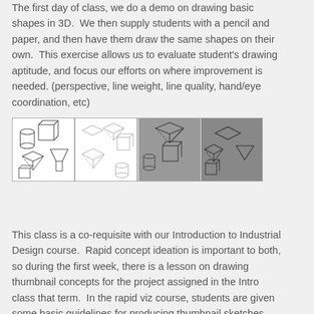The first day of class, we do a demo on drawing basic shapes in 3D. We then supply students with a pencil and paper, and then have them draw the same shapes on their own. This exercise allows us to evaluate student's drawing aptitude, and focus our efforts on where improvement is needed. (perspective, line weight, line quality, hand/eye coordination, etc)
[Figure (photo): Four panel image showing student drawings of 3D shapes: first two panels show pencil sketches of cylinders, cubes, pyramids, and other geometric solids on white paper; last two panels show similar shapes drawn on gray/toned paper.]
This class is a co-requisite with our Introduction to Industrial Design course. Rapid concept ideation is important to both, so during the first week, there is a lesson on drawing thumbnail concepts for the project assigned in the Intro class that term. In the rapid viz course, students are given some basic guidelines for producing thumbnail sketches then sent home to produce 100 unique thumbnails of concepts for their